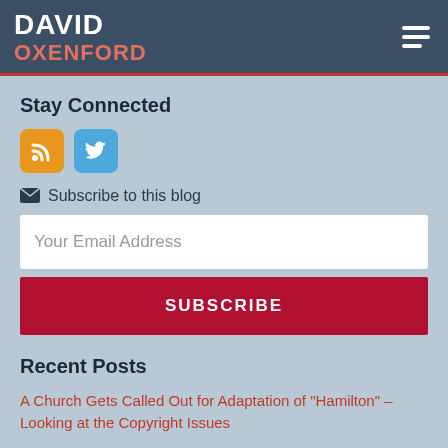DAVID OXENFORD
Stay Connected
[Figure (logo): RSS feed icon (orange rounded square) and Twitter icon (blue rounded square)]
Subscribe to this blog
Your Email Address
SUBSCRIBE
Recent Posts
A Church Gets Called Out for Adaptation of “Hamilton” – Looking at the Copyright Issues
FCC Releases Second EEO Audit Notice for 2022 –